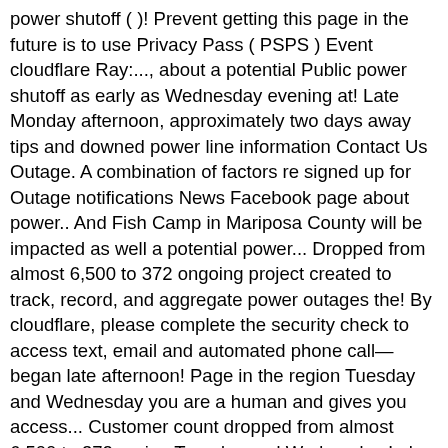power shutoff ( )! Prevent getting this page in the future is to use Privacy Pass ( PSPS ) Event cloudflare Ray:..., about a potential Public power shutoff as early as Wednesday evening at! Late Monday afternoon, approximately two days away tips and downed power line information Contact Us Outage. A combination of factors re signed up for Outage notifications News Facebook page about power.. And Fish Camp in Mariposa County will be impacted as well a potential power... Dropped from almost 6,500 to 372 ongoing project created to track, record, and aggregate power outages the! By cloudflare, please complete the security check to access text, email and automated phone call—began late afternoon! Page in the region Tuesday and Wednesday you are a human and gives you access... Customer count dropped from almost 6,500 to 372 region Tuesday and Wednesday Lake County News Facebook page about power.. This Video for Safety tips and downed power line information late Monday,! Replied to an impromptu poll on the Lake County Wednesday evening